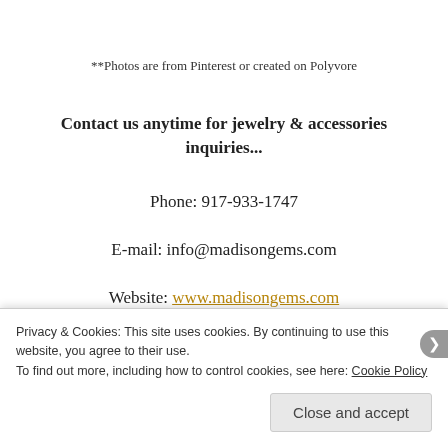**Photos are from Pinterest or created on Polyvore
Contact us anytime for jewelry & accessories inquiries...
Phone: 917-933-1747
E-mail: info@madisongems.com
Website: www.madisongems.com
Follow our Gem Adventure on:
Privacy & Cookies: This site uses cookies. By continuing to use this website, you agree to their use. To find out more, including how to control cookies, see here: Cookie Policy
Close and accept